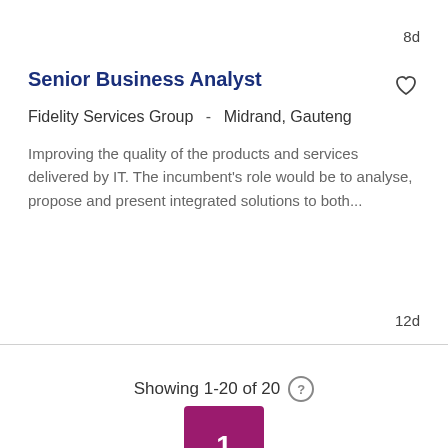8d
Senior Business Analyst
Fidelity Services Group -  Midrand, Gauteng
Improving the quality of the products and services delivered by IT. The incumbent's role would be to analyse, propose and present integrated solutions to both...
12d
Showing 1-20 of 20
1